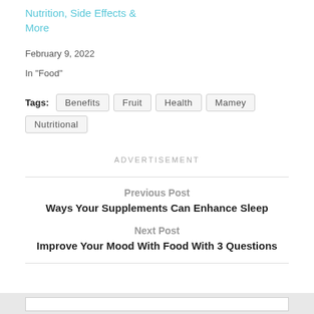Nutrition, Side Effects & More
February 9, 2022
In "Food"
Tags: Benefits  Fruit  Health  Mamey  Nutritional
ADVERTISEMENT
Previous Post
Ways Your Supplements Can Enhance Sleep
Next Post
Improve Your Mood With Food With 3 Questions